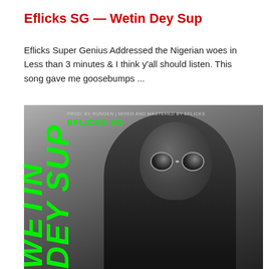Eflicks SG — Wetin Dey Sup
Eflicks Super Genius Addressed the Nigerian woes in Less than 3 minutes & I think y'all should listen. This song gave me goosebumps ...
[Figure (illustration): Album art for 'Wetin Dey Sup' by Eflicks SG. Black and white portrait of a young man wearing round sunglasses and a jacket with white collar. Large bold green italic text 'WETIN DEY SUP' runs vertically on the left side. Top overlay shows 'PROD. BY RUNDEN | MIXED AND MASTERED BY EFLICKS' in small grey text and 'EFLICKS SG' in large green text.]